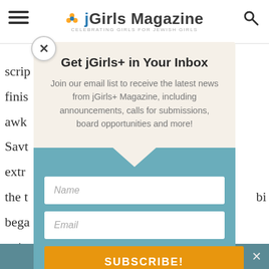jGirls Magazine
Get jGirls+ in Your Inbox
Join our email list to receive the latest news from jGirls+ Magazine, including announcements, calls for submissions, board opportunities and more!
Name
Email
SUBSCRIBE!
Share This